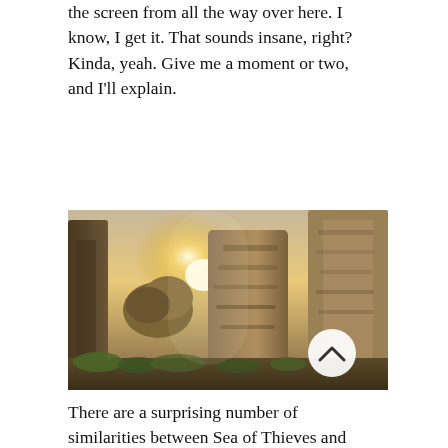the screen from all the way over here. I know, I get it. That sounds insane, right? Kinda, yeah. Give me a moment or two, and I'll explain.
[Figure (photo): A game screenshot from Sea of Thieves showing ancient stone ruins or statues backlit by a bright sun, with warm golden light and green vegetation at the base. A circular button with a chevron/up-arrow icon is visible in the lower right of the image.]
There are a surprising number of similarities between Sea of Thieves and Dark Souls. At the point when I started playing Sea of Thieves (all the way back in the technical alpha), there was no tutorial or introduction to speak of. Players were dropped into a world rich